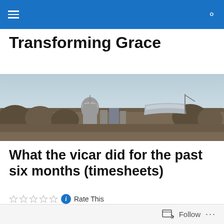Navigation bar with hamburger menu and search icon
Transforming Grace
[Figure (photo): Aerial/elevated cityscape photo showing a suburban skyline with buildings, a large circular tower, a stadium in the background, and trees in the foreground under a hazy sky.]
What the vicar did for the past six months (timesheets)
Rate This
So I've run Timerecorder App on my phone for six months…
Follow ...